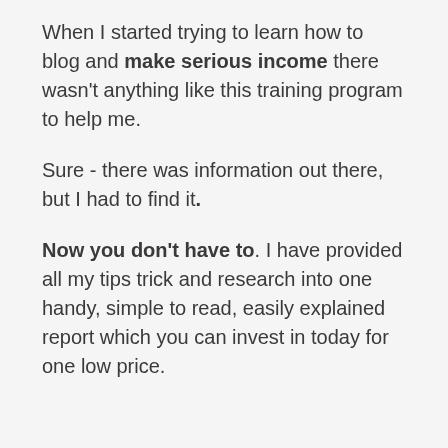When I started trying to learn how to blog and make serious income there wasn't anything like this training program to help me.
Sure - there was information out there, but I had to find it.
Now you don't have to. I have provided all my tips trick and research into one handy, simple to read, easily explained report which you can invest in today for one low price.